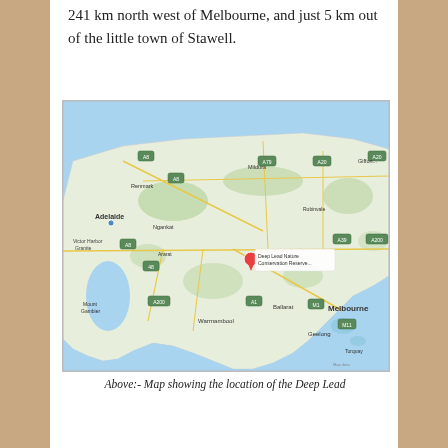241 km north west of Melbourne, and just 5 km out of the little town of Stawell.
[Figure (map): Google Maps screenshot showing the location of Deep Lead Nature Conservation Reserve in Victoria, Australia, marked with a red pin, approximately 241 km north west of Melbourne near the town of Stawell. Adelaide is visible to the left, Melbourne to the right.]
Above:- Map showing the location of the Deep Lead